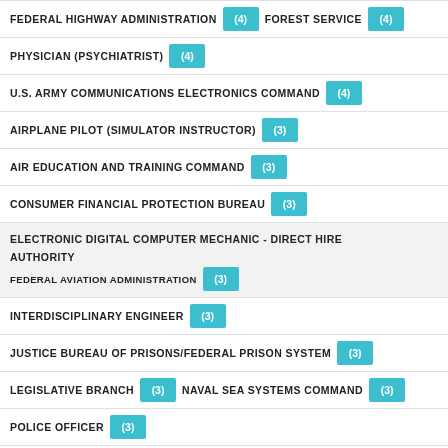FEDERAL HIGHWAY ADMINISTRATION (4)   FOREST SERVICE (4)
PHYSICIAN (PSYCHIATRIST) (4)
U.S. ARMY COMMUNICATIONS ELECTRONICS COMMAND (4)
AIRPLANE PILOT (SIMULATOR INSTRUCTOR) (3)
AIR EDUCATION AND TRAINING COMMAND (3)
CONSUMER FINANCIAL PROTECTION BUREAU (3)
ELECTRONIC DIGITAL COMPUTER MECHANIC - DIRECT HIRE AUTHORITY
FEDERAL AVIATION ADMINISTRATION (3)
INTERDISCIPLINARY ENGINEER (3)
JUSTICE BUREAU OF PRISONS/FEDERAL PRISON SYSTEM (3)
LEGISLATIVE BRANCH (3)   NAVAL SEA SYSTEMS COMMAND (3)
POLICE OFFICER (3)
AIRCRAFT PNEUDRAULIC SYSTEMS MECHANIC (2)